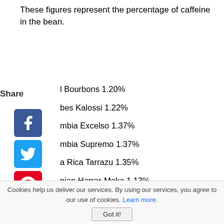These figures represent the percentage of caffeine in the bean.
l Bourbons 1.20%
bes Kalossi 1.22%
mbia Excelso 1.37%
mbia Supremo 1.37%
a Rica Tarrazu 1.35%
pian Harrar-Moka 1.13%
emala Antigua 1.32%
n Mysore 1.37%
aican Blue Mtn/Wallensford Estate 1.24%
Estate Kuyumas 1.20%
a AA 1.36%
Cookies help us deliver our services. By using our services, you agree to our use of cookies. Learn more.
Got it!